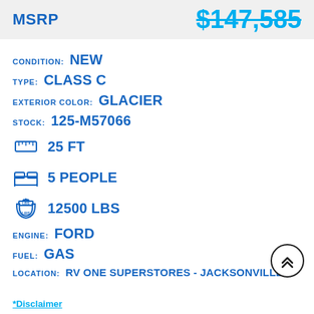MSRP   $147,585
CONDITION: NEW
TYPE: CLASS C
EXTERIOR COLOR: GLACIER
STOCK: 125-M57066
25 FT
5 PEOPLE
12500 LBS
ENGINE: FORD
FUEL: GAS
LOCATION: RV ONE SUPERSTORES - JACKSONVILLE
*Disclaimer